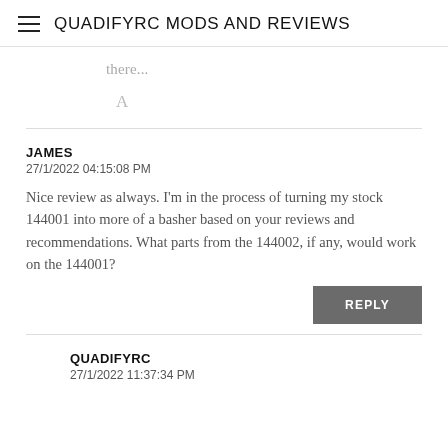QUADIFYRC MODS AND REVIEWS
there...
A
JAMES
27/1/2022 04:15:08 PM
Nice review as always. I'm in the process of turning my stock 144001 into more of a basher based on your reviews and recommendations. What parts from the 144002, if any, would work on the 144001?
REPLY
QUADIFYRC
27/1/2022 11:37:34 PM